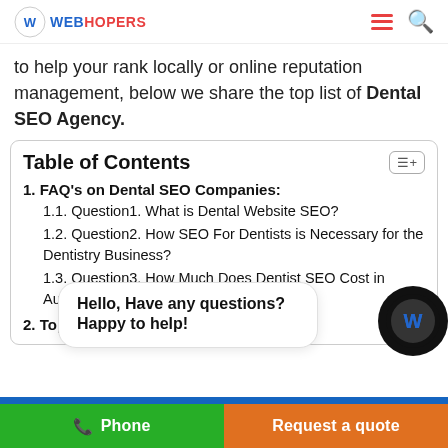WEBHOPERS
to help your rank locally or online reputation management, below we share the top list of Dental SEO Agency.
Table of Contents
1. FAQ's on Dental SEO Companies:
1.1. Question1. What is Dental Website SEO?
1.2. Question2. How SEO For Dentists is Necessary for the Dentistry Business?
1.3. Question3. How Much Does Dentist SEO Cost in Australia?
2. Top 10 De...es Dentists in A...
Hello, Have any questions? Happy to help!